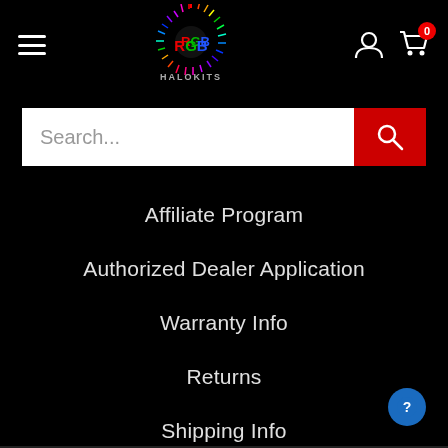[Figure (logo): RGB Halo Kits logo with colorful radial burst rays and bold RGB text in red, green, blue lettering with HALOKITS below]
[Figure (screenshot): Search bar with white input area showing Search... placeholder and red search button with magnifying glass icon]
Affiliate Program
Authorized Dealer Application
Warranty Info
Returns
Shipping Info
Terms of Service